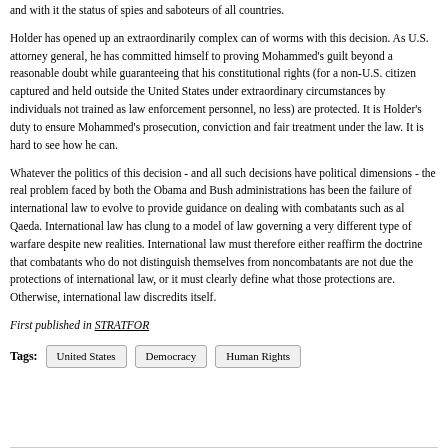and with it the status of spies and saboteurs of all countries.
Holder has opened up an extraordinarily complex can of worms with this decision. As U.S. attorney general, he has committed himself to proving Mohammed's guilt beyond a reasonable doubt while guaranteeing that his constitutional rights (for a non-U.S. citizen captured and held outside the United States under extraordinary circumstances by individuals not trained as law enforcement personnel, no less) are protected. It is Holder's duty to ensure Mohammed's prosecution, conviction and fair treatment under the law. It is hard to see how he can.
Whatever the politics of this decision - and all such decisions have political dimensions - the real problem faced by both the Obama and Bush administrations has been the failure of international law to evolve to provide guidance on dealing with combatants such as al Qaeda. International law has clung to a model of law governing a very different type of warfare despite new realities. International law must therefore either reaffirm the doctrine that combatants who do not distinguish themselves from noncombatants are not due the protections of international law, or it must clearly define what those protections are. Otherwise, international law discredits itself.
First published in STRATFOR
Tags: United States   Democracy   Human Rights